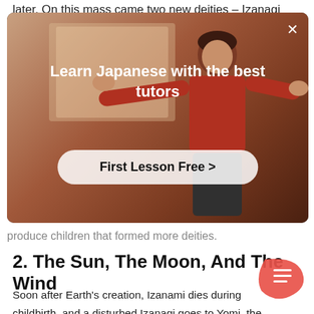later. On this mass came two new deities – Izanagi
[Figure (screenshot): Advertisement overlay showing a person with arms outstretched, with text 'Learn Japanese with the best tutors' and a button 'First Lesson Free >' and a close (×) button in the top right corner.]
produce children that formed more deities.
2. The Sun, The Moon, And The Wind
Soon after Earth's creation, Izanami dies during childbirth, and a disturbed Izanagi goes to Yomi, the land of the dead, to bring her back. However, too late as her body has decomposed beyo. recognition.